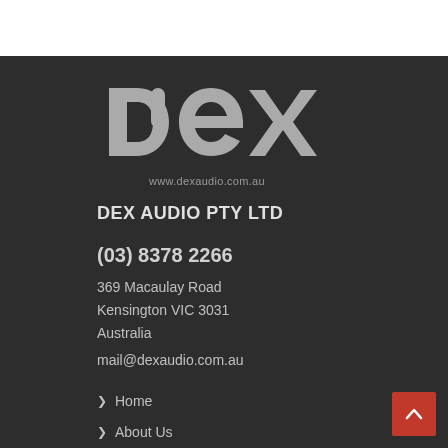[Figure (logo): DEX Audio logo with stylized 'dex' text and website URL www.dexaudio.com.au]
DEX AUDIO PTY LTD
(03) 8378 2266
369 Macaulay Road
Kensington VIC 3031
Australia
mail@dexaudio.com.au
Home
About Us